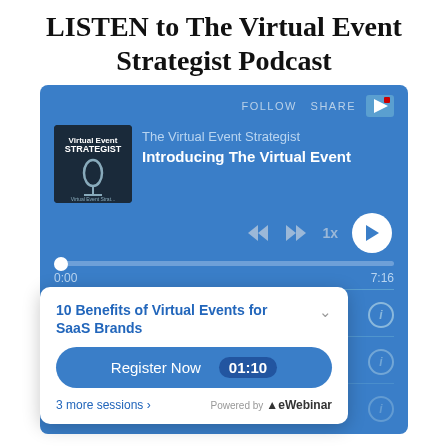LISTEN to The Virtual Event Strategist Podcast
[Figure (screenshot): A podcast player widget showing 'The Virtual Event Strategist' podcast with episode 'Introducing The Virtual Event', playback controls (rewind, fast-forward, 1x speed, play button), a progress bar at 0:00 of 7:16, and an episode list item 'Introducing The Virtual E...' dated Apr 30, 2022.]
10 Benefits of Virtual Events for SaaS Brands
Register Now   01:10
3 more sessions »
Powered by eWebinar